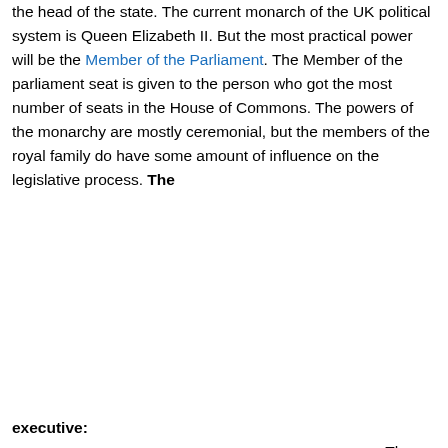the head of the state. The current monarch of the UK political system is Queen Elizabeth II. But the most practical power will be the Member of the Parliament. The Member of the parliament seat is given to the person who got the most number of seats in the House of Commons. The powers of the monarchy are mostly ceremonial, but the members of the royal family do have some amount of influence on the legislative process. The executive: The Executives are the ministers who run the country, and they are responsible for proposing new laws in the country. The Legislature: The legislature is the body which is elected to pass...